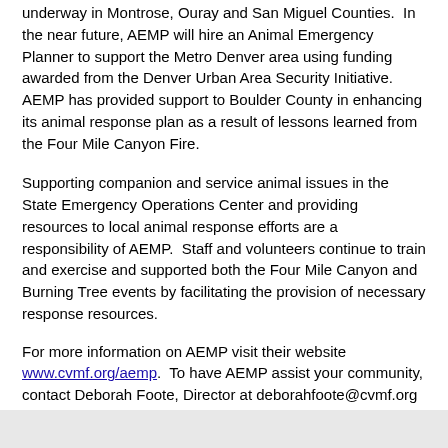underway in Montrose, Ouray and San Miguel Counties.  In the near future, AEMP will hire an Animal Emergency Planner to support the Metro Denver area using funding awarded from the Denver Urban Area Security Initiative.  AEMP has provided support to Boulder County in enhancing its animal response plan as a result of lessons learned from the Four Mile Canyon Fire.
Supporting companion and service animal issues in the State Emergency Operations Center and providing resources to local animal response efforts are a responsibility of AEMP.  Staff and volunteers continue to train and exercise and supported both the Four Mile Canyon and Burning Tree events by facilitating the provision of necessary response resources.
For more information on AEMP visit their website www.cvmf.org/aemp.  To have AEMP assist your community, contact Deborah Foote, Director at deborahfoote@cvmf.org or 303.539.7633.